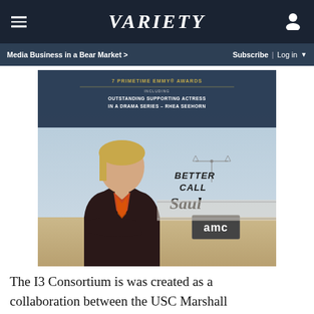VARIETY
Media Business in a Bear Market >   Subscribe | Log in
[Figure (photo): Better Call Saul AMC promotional advertisement showing Rhea Seehorn with text '7 Primetime Emmy Awards including Outstanding Supporting Actress in a Drama Series - Rhea Seehorn', Better Call Saul logo, and AMC logo]
The I3 Consortium is was created as a collaboration between the USC Marshall School of Business and the Viterbi School of Engineering, although Krishnamachari said he hopes to